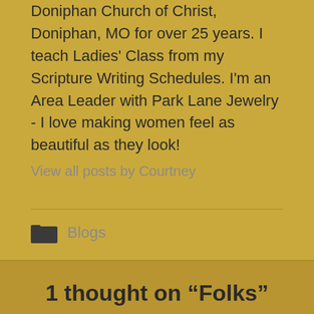Doniphan Church of Christ, Doniphan, MO for over 25 years. I teach Ladies' Class from my Scripture Writing Schedules. I'm an Area Leader with Park Lane Jewelry - I love making women feel as beautiful as they look!
View all posts by Courtney
Blogs
1 thought on “Folks”
Frances   January 16, 2020 — 8:51 am